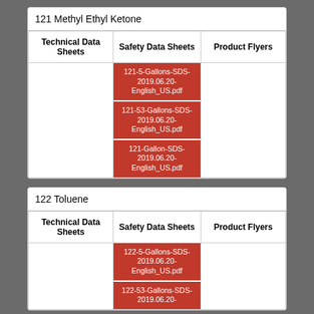| Technical Data Sheets | Safety Data Sheets | Product Flyers |
| --- | --- | --- |
|  | 121-5-Gallons-SDS-2019.06.20-English_US.pdf
121-53-Gallons-SDS-2019.06.20-English_US.pdf
121-Gallon-SDS-2019.06.20-English_US.pdf |  |
| Technical Data Sheets | Safety Data Sheets | Product Flyers |
| --- | --- | --- |
|  | 122-5-Gallons-SDS-2019.06.20-English_US.pdf
122-53-Gallons-SDS-2019.06.20- |  |